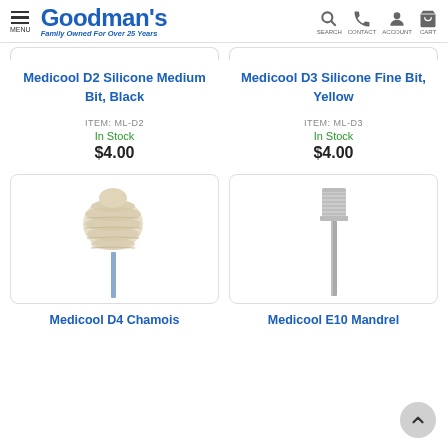Goodman's Family Owned For Over 25 Years
Medicool D2 Silicone Medium Bit, Black
Medicool D3 Silicone Fine Bit, Yellow
ITEM: ML-D2
In Stock
$4.00
ITEM: ML-D3
In Stock
$4.00
[Figure (photo): Medicool D4 Chamois buff attachment on a metal mandrel shaft]
[Figure (photo): Medicool E10 Mandrel - silver metal cylindrical mandrel on a thin shaft]
Medicool D4 Chamois
Medicool E10 Mandrel